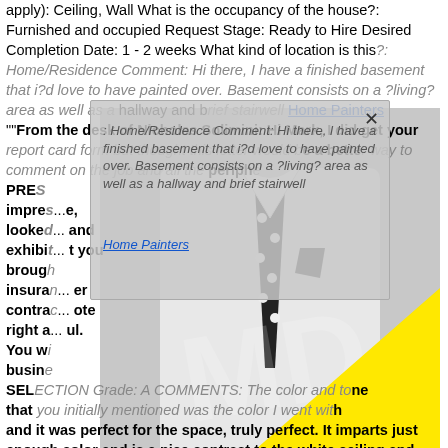apply): Ceiling, Wall What is the occupancy of the house?: Furnished and occupied Request Stage: Ready to Hire Desired Completion Date: 1 - 2 weeks What kind of location is this?: Home/Residence Comment: Hi there, I have a finished basement that i?d love to have painted over. Basement consists on a ?living? area as well as a hallway and brief stairwell Home Painters ""From the desk of Nicholas Solimini: Hi Mark, I did get your report card form but thought this letter would be a better way to comment on the job and all the peripheral PRESENTATION Grade: A COMMENTS: impressive, looked and exhibited you brought insura contractor quote right a ful. You w business SELECTION Grade: A COMMENTS: The color and tone that you initially mentioned was the color I went with and it was perfect for the space, truly perfect. It imparts just enough color and is a nice contrast to the white ceiling and trim. PREPARATION Grade: A COMMENTS:
[Figure (photo): Black and white photo of a man in a white suit with a polka-dot tie and pocket square, with a large yellow triangle overlaid on the lower right portion of the image.]